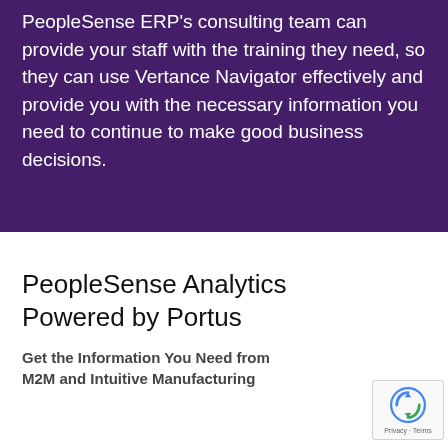PeopleSense ERP's consulting team can provide your staff with the training they need, so they can use Vertance Navigator effectively and provide you with the necessary information you need to continue to make good business decisions.
PeopleSense Analytics Powered by Portus
Get the Information You Need from M2M and Intuitive Manufacturing